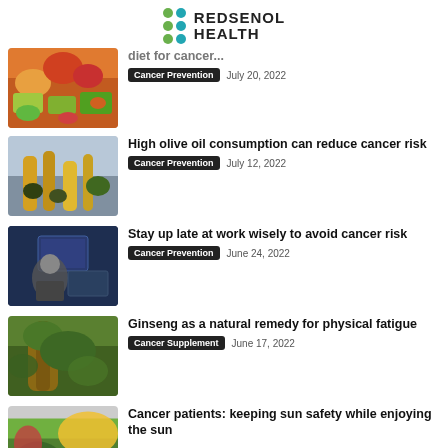[Figure (logo): Redsenol Health logo with green and teal dots and bold text]
diet for cancer... | Cancer Prevention | July 20, 2022
High olive oil consumption can reduce cancer risk | Cancer Prevention | July 12, 2022
Stay up late at work wisely to avoid cancer risk | Cancer Prevention | June 24, 2022
Ginseng as a natural remedy for physical fatigue | Cancer Supplement | June 17, 2022
Cancer patients: keeping sun safety while enjoying the sun